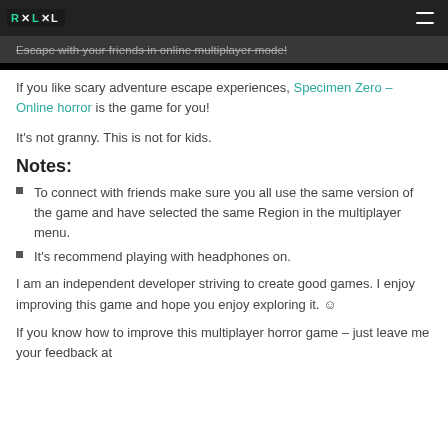[Logo] Escape with your friends in online multiplayer mode!
If you like scary adventure escape experiences, Specimen Zero – Online horror is the game for you!
It's not granny. This is not for kids.
Notes:
To connect with friends make sure you all use the same version of the game and have selected the same Region in the multiplayer menu.
It's recommend playing with headphones on.
I am an independent developer striving to create good games. I enjoy improving this game and hope you enjoy exploring it. ☺
If you know how to improve this multiplayer horror game – just leave me your feedback at